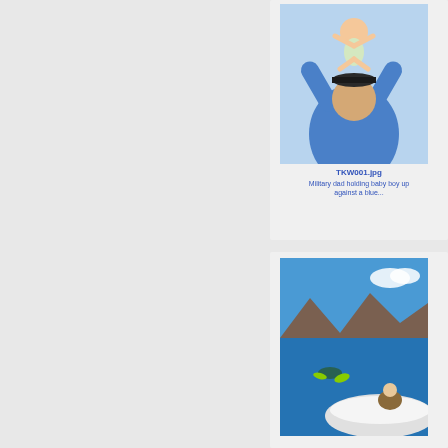[Figure (photo): Military dad in blue shirt holding baby boy up against a blue sky background]
TKW001.jpg
Military dad holding baby boy up against a blue...
[Figure (photo): Snorkelers in blue water near a boat with mountains in background]